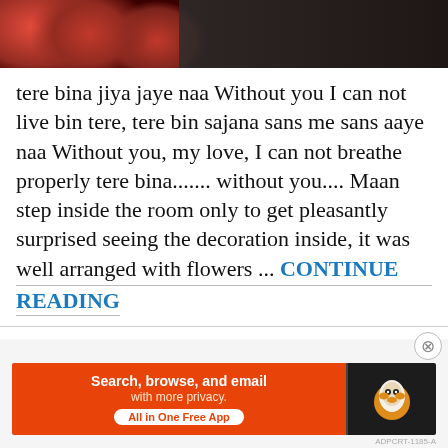[Figure (photo): Banner image with red roses on the left and dark background on the right]
tere bina jiya jaye naa Without you I can not live bin tere, tere bin sajana sans me sans aaye naa Without you, my love, I can not breathe properly tere bina....... without you.... Maan step inside the room only to get pleasantly surprised seeing the decoration inside, it was well arranged with flowers ... CONTINUE READING
Posted in Uncategorized   20 Comments
Advertisements
[Figure (screenshot): DuckDuckGo advertisement banner: Search, browse, and email with more privacy. All in One Free App]